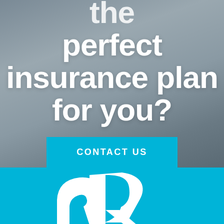the perfect insurance plan for you?
CONTACT US
[Figure (logo): White stylized 'R' or company logo mark on cyan/teal background at bottom of page]